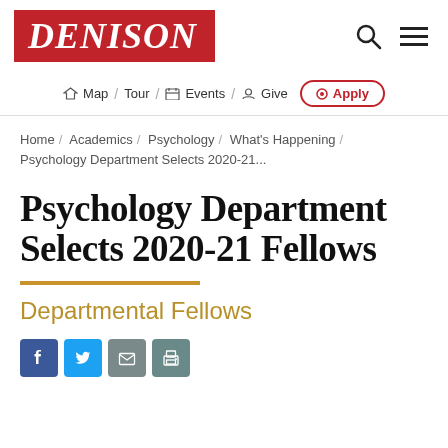DENISON
Map / Tour / Events / Give / Apply
Home / Academics / Psychology / What's Happening / Psychology Department Selects 2020-21...
Psychology Department Selects 2020-21 Fellows
Departmental Fellows